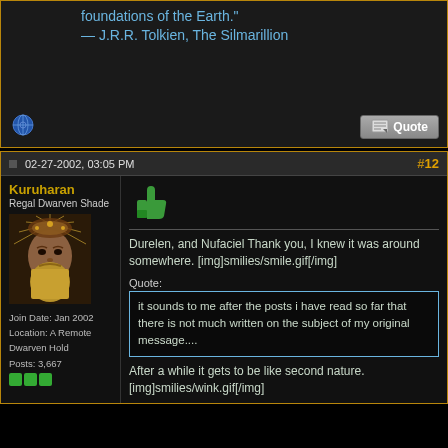foundations of the Earth." — J.R.R. Tolkien, The Silmarillion
02-27-2002, 03:05 PM
#12
Kuruharan
Regal Dwarven Shade
[Figure (photo): Avatar of a bearded fantasy dwarf king with elaborate headdress]
Join Date: Jan 2002
Location: A Remote Dwarven Hold
Posts: 3,667
Durelen, and Nufaciel Thank you, I knew it was around somewhere. [img]smilies/smile.gif[/img]
Quote:
it sounds to me after the posts i have read so far that there is not much written on the subject of my original message....
After a while it gets to be like second nature. [img]smilies/wink.gif[/img]